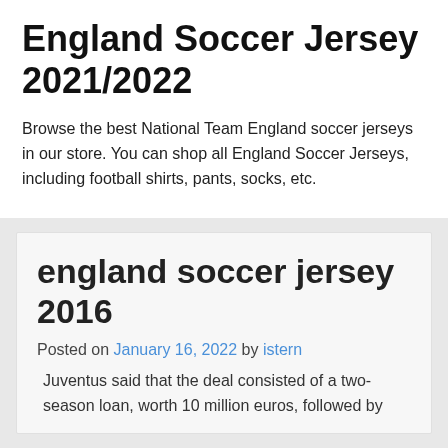England Soccer Jersey 2021/2022
Browse the best National Team England soccer jerseys in our store. You can shop all England Soccer Jerseys, including football shirts, pants, socks, etc.
england soccer jersey 2016
Posted on January 16, 2022 by istern
Juventus said that the deal consisted of a two-season loan, worth 10 million euros, followed by